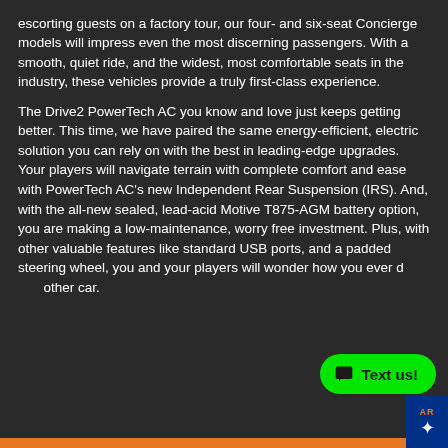escorting guests on a factory tour, our four- and six-seat Concierge models will impress even the most discerning passengers. With a smooth, quiet ride, and the widest, most comfortable seats in the industry, these vehicles provide a truly first-class experience.
The Drive2 PowerTech AC you know and love just keeps getting better. This time, we have paired the same energy-efficient, electric solution you can rely on with the best in leading-edge upgrades. Your players will navigate terrain with complete comfort and ease with PowerTech AC's new Independent Rear Suspension (IRS). And, with the all-new sealed, lead-acid Motive T875-AGM battery option, you are making a low-maintenance, worry free investment. Plus, with other valuable features like standard USB ports, and a padded steering wheel, you and your players will wonder how you ever drove any other car.